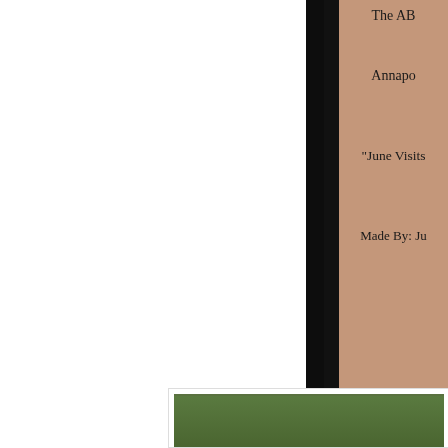[Figure (photo): Partial view of a book or card cover with a tan/salmon colored background. Text visible at right edge reads 'The AB...', 'Annapo...', '"June Visits...', 'Made By: Ju...' with a large dark decorative letter or figure partially visible at lower right. Black fabric or textured background visible behind the cover. The image is cropped — only the right portion is visible.]
[Figure (photo): Bottom portion of the page shows the top edge of a second photograph — a partial outdoor scene with green foliage/trees visible, slightly cropped at the bottom.]